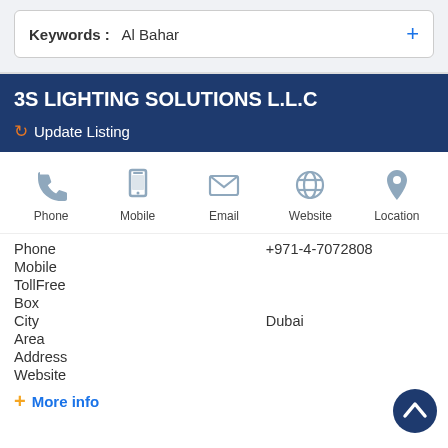Keywords : Al Bahar
3S LIGHTING SOLUTIONS L.L.C
Update Listing
[Figure (infographic): Row of five contact icons: Phone (handset), Mobile (smartphone), Email (envelope), Website (globe), Location (map pin) with labels below each]
| Phone | +971-4-7072808 |
| Mobile |  |
| TollFree |  |
| Box |  |
| City | Dubai |
| Area |  |
| Address |  |
| Website |  |
More info